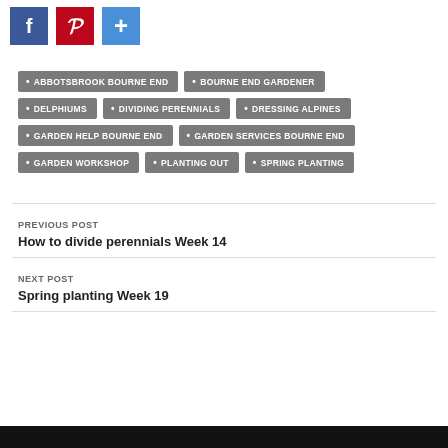[Figure (other): Social share buttons: Facebook (blue), Pinterest (red), Share/Plus (blue)]
ABBOTSBROOK BOURNE END
BOURNE END GARDENER
DELPHIUMS
DIVIDING PERENNIALS
DRESSING ALPINES
GARDEN HELP BOURNE END
GARDEN SERVICES BOURNE END
GARDEN WORKSHOP
PLANTING OUT
SPRING PLANTING
PREVIOUS POST
How to divide perennials Week 14
NEXT POST
Spring planting Week 19